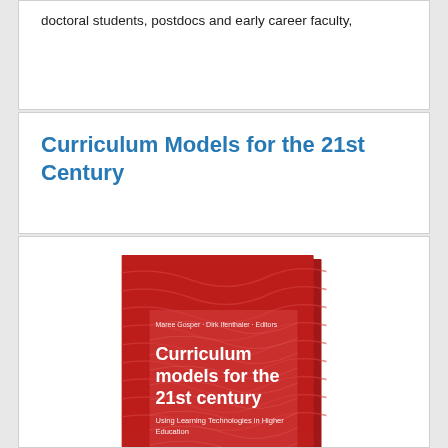doctoral students, postdocs and early career faculty,
Curriculum Models for the 21st Century
[Figure (illustration): Book cover of 'Curriculum models for the 21st century: Using Learning Technologies in Higher Education', edited by Maree Gosper and Dirk Ifenthaler. Red cover with wave pattern and white text.]